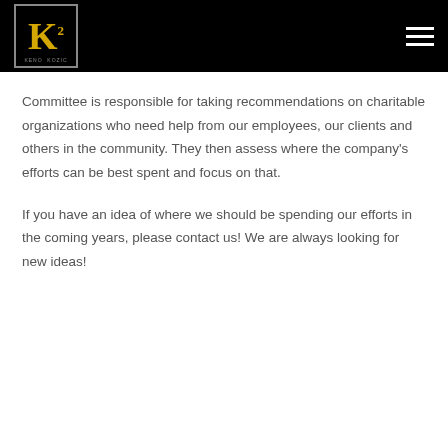[Figure (logo): K2 logo with yellow K letter and superscript 2, on black background with border, with text KENO KOZIC below]
Committee is responsible for taking recommendations on charitable organizations who need help from our employees, our clients and others in the community. They then assess where the company's efforts can be best spent and focus on that.
If you have an idea of where we should be spending our efforts in the coming years, please contact us! We are always looking for new ideas!